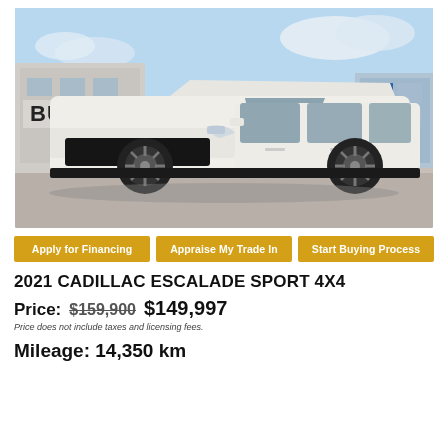[Figure (photo): A white 2021 Cadillac Escalade Sport 4x4 SUV parked in front of a Buick dealership building on a sunny day.]
Apply for Financing
Appraise My Trade In
Start Buying Process
2021 CADILLAC ESCALADE SPORT 4X4
Price: $159,900 $149,997
Price does not include taxes and licensing fees.
Mileage: 14,350 km